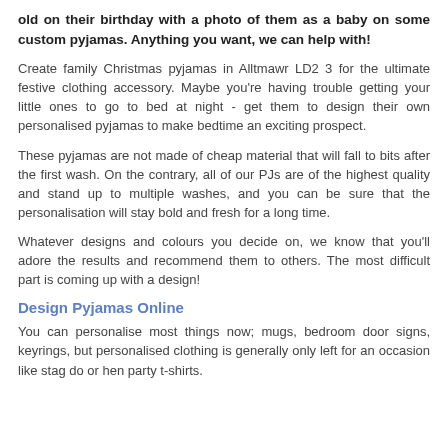old on their birthday with a photo of them as a baby on some custom pyjamas. Anything you want, we can help with!
Create family Christmas pyjamas in Alltmawr LD2 3 for the ultimate festive clothing accessory. Maybe you're having trouble getting your little ones to go to bed at night - get them to design their own personalised pyjamas to make bedtime an exciting prospect.
These pyjamas are not made of cheap material that will fall to bits after the first wash. On the contrary, all of our PJs are of the highest quality and stand up to multiple washes, and you can be sure that the personalisation will stay bold and fresh for a long time.
Whatever designs and colours you decide on, we know that you'll adore the results and recommend them to others. The most difficult part is coming up with a design!
Design Pyjamas Online
You can personalise most things now; mugs, bedroom door signs, keyrings, but personalised clothing is generally only left for an occasion like stag do or hen party t-shirts.